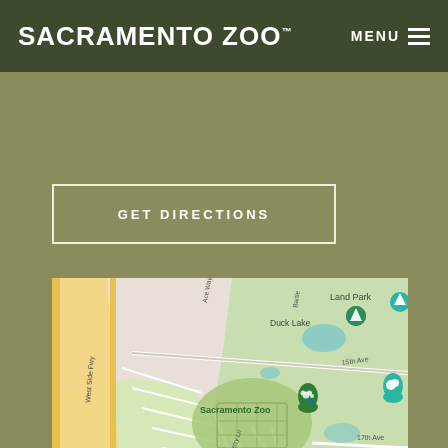Sacramento Zoo | MENU
[Figure (other): GET DIRECTIONS button with white border on olive/khaki background]
[Figure (map): Google Maps screenshot showing Sacramento Zoo location in Land Park area, Sacramento CA. Shows streets including West Side Fwy, Sutterville Rd, 15th Ave, 17th Ave, Warren Ave, Mulberry Ln, Good Park Dr. Nearby landmarks: Duck Lake, Funderland Amusement Park, William Land Golf Course. Sacramento Zoo marker shown with paw print icon.]